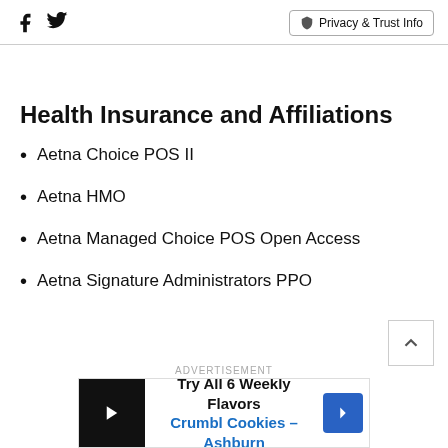Facebook Twitter | Privacy & Trust Info
Health Insurance and Affiliations
Aetna Choice POS II
Aetna HMO
Aetna Managed Choice POS Open Access
Aetna Signature Administrators PPO
[Figure (other): Advertisement banner for Crumbl Cookies - Ashburn: Try All 6 Weekly Flavors]
ADVERTISEMENT